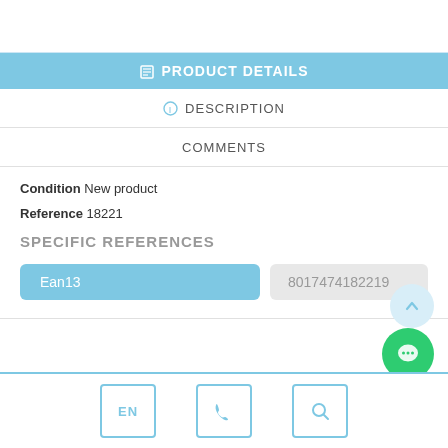PRODUCT DETAILS
DESCRIPTION
COMMENTS
Condition New product
Reference 18221
SPECIFIC REFERENCES
| Ean13 |  |
| --- | --- |
| Ean13 | 8017474182219 |
EN | phone | search